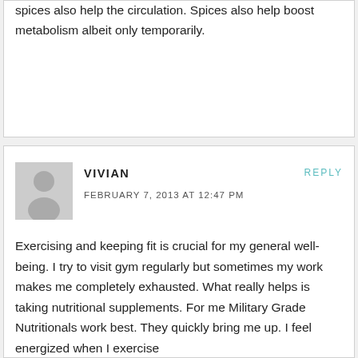spices also help the circulation. Spices also help boost metabolism albeit only temporarily.
VIVIAN
FEBRUARY 7, 2013 AT 12:47 PM
REPLY
[Figure (illustration): Gray placeholder avatar silhouette icon]
Exercising and keeping fit is crucial for my general well-being. I try to visit gym regularly but sometimes my work makes me completely exhausted. What really helps is taking nutritional supplements. For me Military Grade Nutritionals work best. They quickly bring me up. I feel energized when I exercise